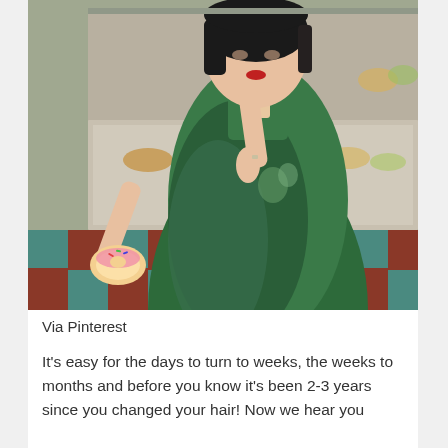[Figure (photo): Woman in green embroidered silk cheongsam/qipao dress holding a pink frosted donut, touching her lips with her finger, standing in front of a bakery display case with teal and red checkered tile walls. She has a short black bob haircut and red lipstick.]
Via Pinterest
It's easy for the days to turn to weeks, the weeks to months and before you know it's been 2-3 years since you changed your hair! Now we hear you